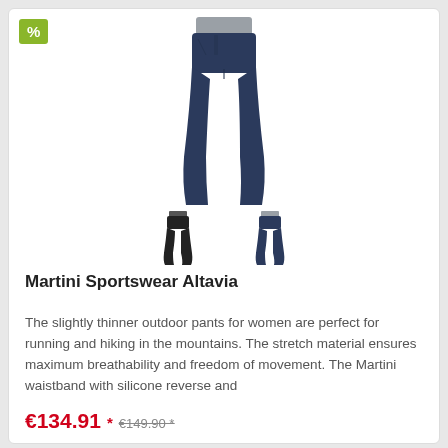[Figure (photo): Main product photo of Martini Sportswear Altavia navy blue outdoor pants for women, shown full-length. Below are two smaller thumbnail images showing the pants in black and navy blue colorways.]
Martini Sportswear Altavia
The slightly thinner outdoor pants for women are perfect for running and hiking in the mountains. The stretch material ensures maximum breathability and freedom of movement. The Martini waistband with silicone reverse and
€134.91 * €149.90 *